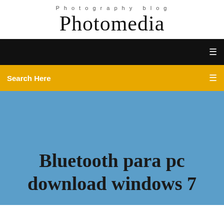Photography blog
Photomedia
[Figure (screenshot): Black navigation bar with white menu icon on right]
Search Here
Bluetooth para pc download windows 7